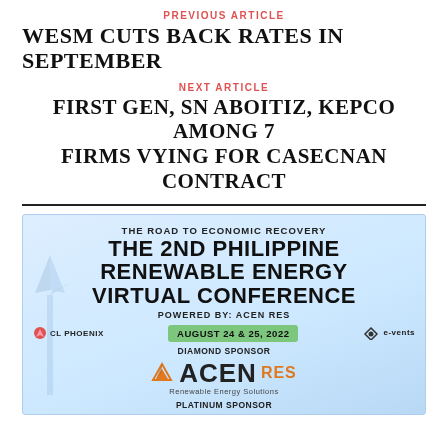PREVIOUS ARTICLE
WESM CUTS BACK RATES IN SEPTEMBER
NEXT ARTICLE
FIRST GEN, SN ABOITIZ, KEPCO AMONG 7 FIRMS VYING FOR CASECNAN CONTRACT
[Figure (infographic): Advertisement banner for The 2nd Philippine Renewable Energy Virtual Conference. The Road to Economic Recovery. Powered by: ACEN RES. August 24 & 25, 2022. Diamond Sponsor: ACEN RES (Renewable Energy Solutions). Platinum Sponsor label visible at bottom. Logos: CL Phoenix on left, e-vents on right.]